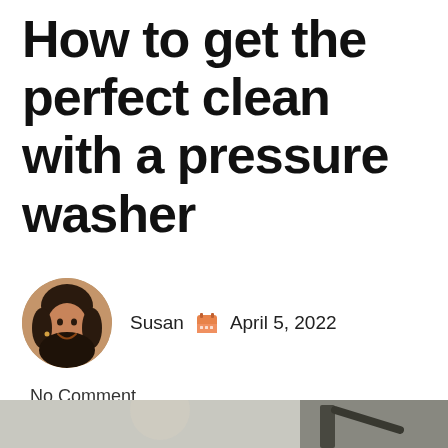How to get the perfect clean with a pressure washer
Susan   April 5, 2022
No Comment
[Figure (photo): Bottom portion of a photo showing a person using a pressure washer, partially visible at the bottom edge of the page.]